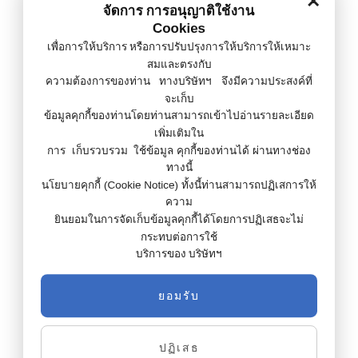models on this cam site are very interactive. They truly pay a lot of attention to the chat as their show is live and so they make you feel like you're truly in the room with them whereas they are performing. People have complained before that
จัดการ การอนุญาติใช้งาน Cookies
เพื่อการให้บริการ หรือการปรับปรุงการให้บริการให้เหมาะสมและตรงกับความต้องการของท่าน ทางบริษัทฯ จึงมีความประสงค์ที่จะเก็บข้อมูลคุกกี้ของท่านโดยท่านสามารถเข้าไปอ่านรายละเอียดเพิ่มเติมในการ เก็บรวบรวม ใช้ข้อมูล คุกกี้ของท่านได้ ผ่านทางช่องทางนี้ นโยบายคุกกี้ (Cookie Notice) ทั้งนี้ท่านสามารถปฏิเสการให้ความยินยอมในการจัดเก็บข้อมูลคุกกี้ได้โดยการปฏิเสธจะไม่กระทบต่อการใช้บริการของ บริษัทฯ
ยอมรับ
ปฏิเสธ
ตั้งค่า